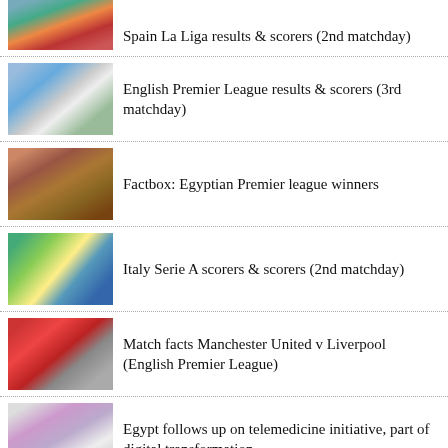[Figure (photo): Partial soccer match photo (Spain La Liga, cropped at top)]
Spain La Liga results & scorers (2nd matchday)
[Figure (photo): Two soccer players competing for the ball in EPL match]
English Premier League results & scorers (3rd matchday)
[Figure (photo): Egyptian Premier League trophy on display]
Factbox: Egyptian Premier league winners
[Figure (photo): Soccer match with yellow-kit goalkeeper and players]
Italy Serie A scorers & scorers (2nd matchday)
[Figure (photo): Soccer players in red and white kits competing]
Match facts Manchester United v Liverpool (English Premier League)
[Figure (photo): Video call / telemedicine meeting screenshot]
Egypt follows up on telemedicine initiative, part of digital transformation.....